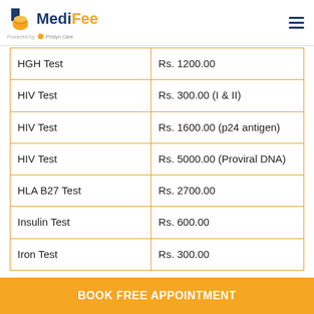MediFee — Powered by Pristyn Care
| Test Name | Price |
| --- | --- |
| HGH Test | Rs. 1200.00 |
| HIV Test | Rs. 300.00 (I & II) |
| HIV Test | Rs. 1600.00 (p24 antigen) |
| HIV Test | Rs. 5000.00 (Proviral DNA) |
| HLA B27 Test | Rs. 2700.00 |
| Insulin Test | Rs. 600.00 |
| Iron Test | Rs. 300.00 |
BOOK FREE APPOINTMENT